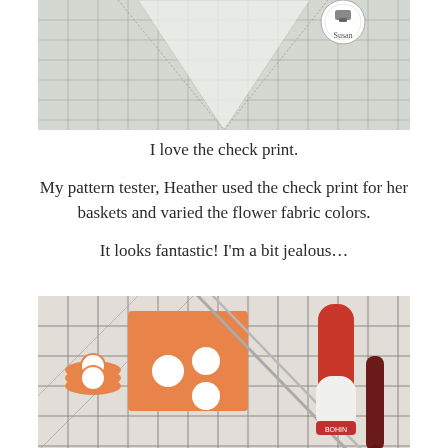[Figure (photo): Top portion of a photo showing a quilting ruler with grid lines and a circular label reading 'Susan' with a sewing machine icon, on a white fabric background with triangular shapes]
I love the check print.
My pattern tester, Heather used the check print for her baskets and varied the flower fabric colors.
It looks fantastic! I'm a bit jealous…
[Figure (photo): Photo of sewing/craft tools on a quilting mat grid: orange leather-like fabric pieces with white circular cutouts, metal skewers/stilettos, and a red and white seam ripper or bodkin tool, plus a dark maroon pointed tool]